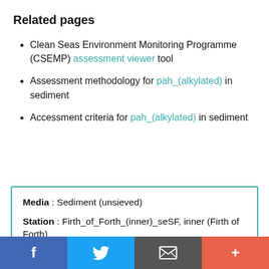Related pages
Clean Seas Environment Monitoring Programme (CSEMP) assessment viewer tool
Assessment methodology for pah_(alkylated) in sediment
Accessment criteria for pah_(alkylated) in sediment
Media : Sediment (unsieved)
Station : Firth_of_Forth_(inner)_seSF, inner (Firth of Forth)
f  [twitter bird]  [envelope]  +